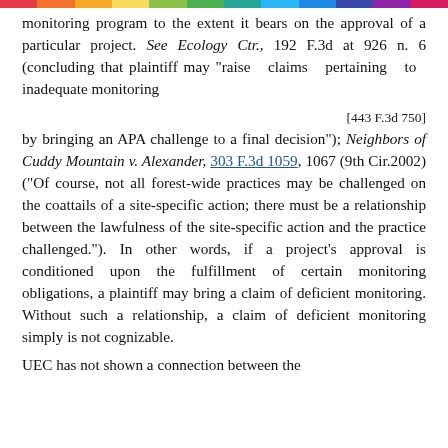monitoring program to the extent it bears on the approval of a particular project. See Ecology Ctr., 192 F.3d at 926 n. 6 (concluding that plaintiff may "raise claims pertaining to inadequate monitoring
[443 F.3d 750]
by bringing an APA challenge to a final decision"); Neighbors of Cuddy Mountain v. Alexander, 303 F.3d 1059, 1067 (9th Cir.2002) ("Of course, not all forest-wide practices may be challenged on the coattails of a site-specific action; there must be a relationship between the lawfulness of the site-specific action and the practice challenged."). In other words, if a project's approval is conditioned upon the fulfillment of certain monitoring obligations, a plaintiff may bring a claim of deficient monitoring. Without such a relationship, a claim of deficient monitoring simply is not cognizable.
UEC has not shown a connection between the